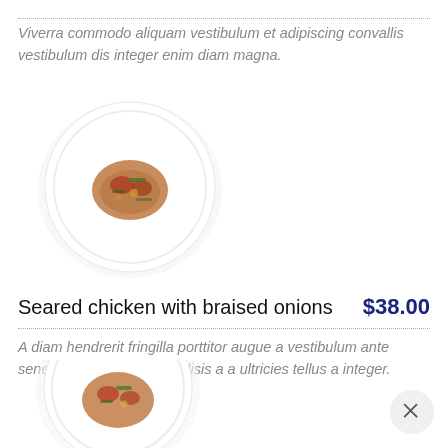Viverra commodo aliquam vestibulum et adipiscing convallis vestibulum dis integer enim diam magna.
[Figure (photo): A white plate with a food dish (braised/seared chicken with vegetables) photographed from above on white background]
Seared chicken with braised onions    $38.00
A diam hendrerit fringilla porttitor augue a vestibulum ante senectus suspendisse facilisis a a ultricies tellus a integer.
[Figure (photo): A white plate with a similar food dish, partially visible at the bottom of the page]